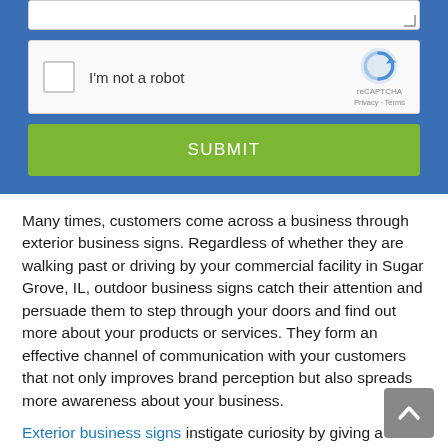[Figure (screenshot): reCAPTCHA widget with checkbox labeled 'I'm not a robot' and the reCAPTCHA logo with Privacy and Terms links]
[Figure (screenshot): Green SUBMIT button]
Many times, customers come across a business through exterior business signs. Regardless of whether they are walking past or driving by your commercial facility in Sugar Grove, IL, outdoor business signs catch their attention and persuade them to step through your doors and find out more about your products or services. They form an effective channel of communication with your customers that not only improves brand perception but also spreads more awareness about your business.
Exterior business signs instigate curiosity by giving a